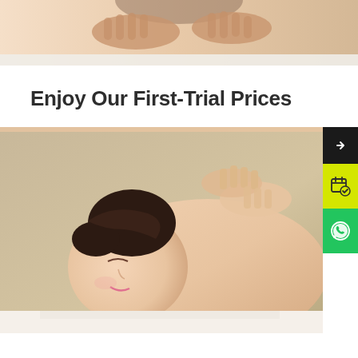[Figure (photo): Close-up of hands giving a back/shoulder massage, warm skin tones, cropped at top of page]
Enjoy Our First-Trial Prices
[Figure (photo): Young Asian woman lying face down receiving a shoulder massage, eyes closed, smiling peacefully, with hands of therapist visible on her back. Sidebar with dark arrow button, yellow calendar/booking button, and green WhatsApp button on the right edge.]